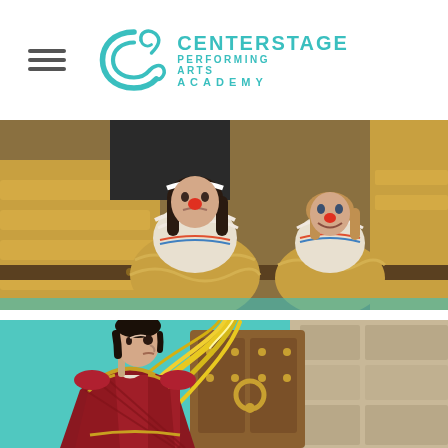CenterStage Performing Arts Academy
[Figure (photo): Two girls in theatrical costumes with red clown noses, wearing white ruffled blouses and gold/yellow dresses, leaning forward on a stage set.]
[Figure (photo): Young man in a red and gold royal/prince costume with a large yellow feathered hat, standing in front of a castle door backdrop with teal background.]